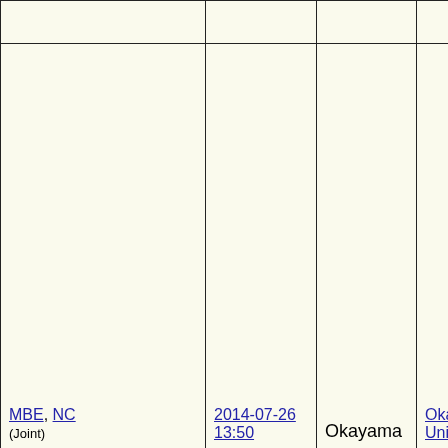|  |  |  |  |
| --- | --- | --- | --- |
|  |  |  |  |
| MBE, NC (Joint) | 2014-07-26 13:50 | Okayama | Okayama University |